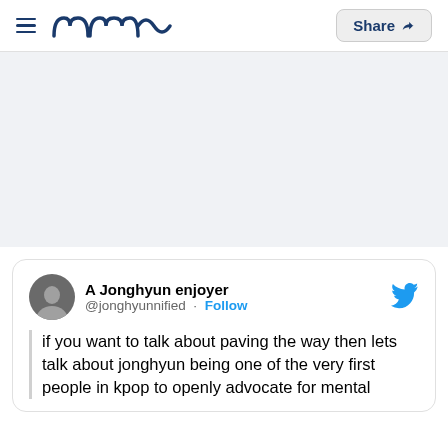Meaww — Share
[Figure (photo): Gray placeholder image area]
A Jonghyun enjoyer @jonghyunnified · Follow
if you want to talk about paving the way then lets talk about jonghyun being one of the very first people in kpop to openly advocate for mental